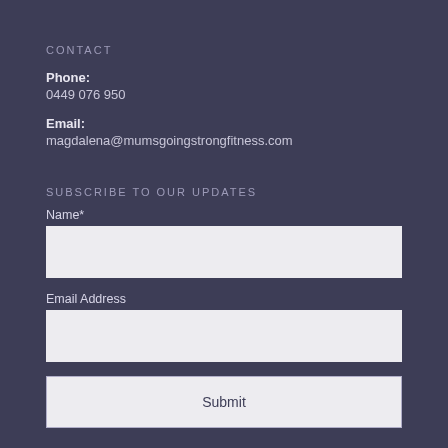CONTACT
Phone:
0449 076 950
Email:
magdalena@mumsgoingstrongfitness.com
SUBSCRIBE TO OUR UPDATES
Name*
[Figure (other): Empty text input field for Name]
Email Address
[Figure (other): Empty text input field for Email Address]
[Figure (other): Submit button]